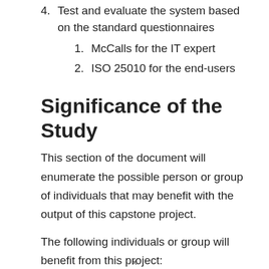4. Test and evaluate the system based on the standard questionnaires
1. McCalls for the IT expert
2. ISO 25010 for the end-users
Significance of the Study
This section of the document will enumerate the possible person or group of individuals that may benefit with the output of this capstone project.
The following individuals or group will benefit from this project:
x